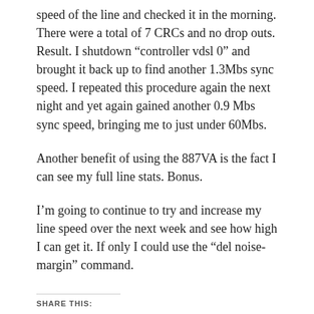speed of the line and checked it in the morning. There were a total of 7 CRCs and no drop outs. Result. I shutdown “controller vdsl 0” and brought it back up to find another 1.3Mbs sync speed. I repeated this procedure again the next night and yet again gained another 0.9 Mbs sync speed, bringing me to just under 60Mbs.
Another benefit of using the 887VA is the fact I can see my full line stats. Bonus.
I’m going to continue to try and increase my line speed over the next week and see how high I can get it. If only I could use the “del noise-margin” command.
SHARE THIS: